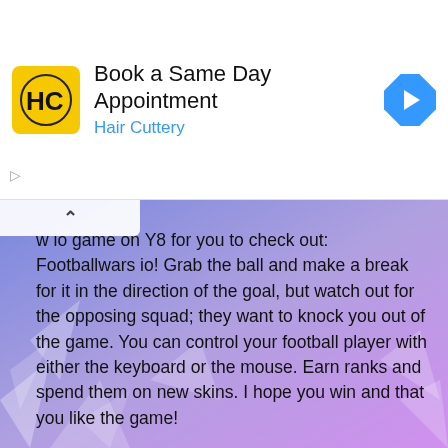[Figure (screenshot): Hair Cuttery advertisement banner with yellow HC logo, text 'Book a Same Day Appointment' and 'Hair Cuttery' in blue, and a blue navigation icon on the right]
w io game on Y8 for you to check out: Footballwars io! Grab the ball and make a break for it in the direction of the goal, but watch out for the opposing squad; they want to knock you out of the game. You can control your football player with either the keyboard or the mouse. Earn ranks and spend them on new skins. I hope you win and that you like the game!